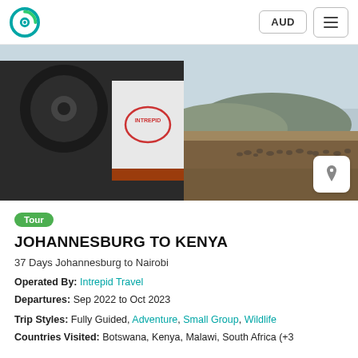AUD  ☰
[Figure (photo): Rear view of an Intrepid Travel overland truck with a large spare tire, beside a herd of goats/sheep on a dry savanna landscape with hills in the background.]
Tour
JOHANNESBURG TO KENYA
37 Days Johannesburg to Nairobi
Operated By: Intrepid Travel
Departures: Sep 2022 to Oct 2023
Trip Styles: Fully Guided, Adventure, Small Group, Wildlife
Countries Visited: Botswana, Kenya, Malawi, South Africa (+3